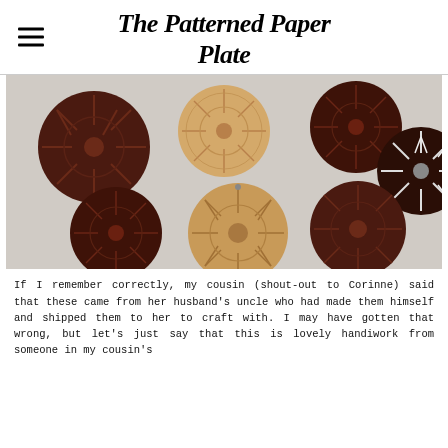The Patterned Paper Plate
[Figure (photo): Seven round wooden disc pendants/ornaments with carved floral/sunburst patterns, arranged on a light grey surface. Some are dark reddish-brown wood, two are lighter natural wood tones, one has a dark background with white/silver leaf pattern.]
If I remember correctly, my cousin (shout-out to Corinne) said that these came from her husband's uncle who had made them himself and shipped them to her to craft with. I may have gotten that wrong, but let's just say that this is lovely handiwork from someone in my cousin's